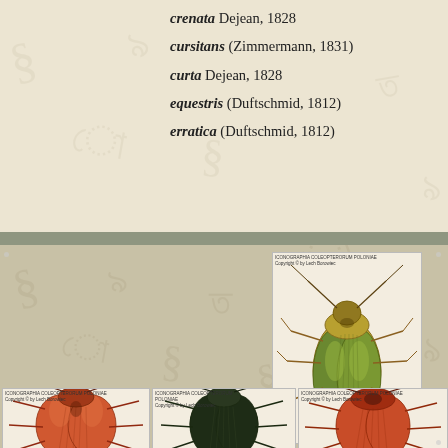crenata Dejean, 1828
cursitans (Zimmermann, 1831)
curta Dejean, 1828
equestris (Duftschmid, 1812)
erratica (Duftschmid, 1812)
[Figure (photo): Dorsal view of a beetle specimen (golden-green metallic coloration) from Iconographia Coleopterorum Poloniae, Copyright by Lech Borowiec]
[Figure (photo): Dorsal view of a reddish-brown beetle specimen from Iconographia Coleopterorum Poloniae, Copyright by Lech Borowiec]
[Figure (photo): Dorsal view of a dark green/black beetle specimen from Iconographia Coleopterorum Poloniae, Copyright by Lech Borowiec]
[Figure (photo): Dorsal view of a reddish-brown beetle specimen from Iconographia Coleopterorum Poloniae, Copyright by Lech Borowiec]